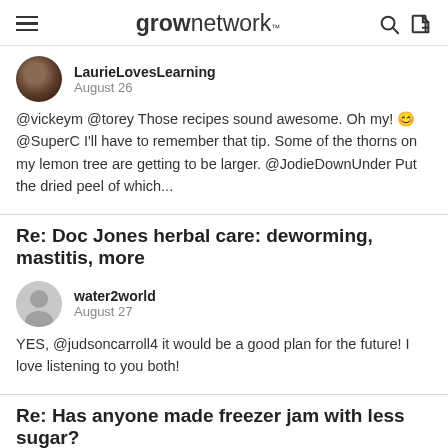grow network
LaurieLovesLearning
August 26
@vickeym @torey Those recipes sound awesome. Oh my! 😊 @SuperC I'll have to remember that tip. Some of the thorns on my lemon tree are getting to be larger. @JodieDownUnder Put the dried peel of which...
Re: Doc Jones herbal care: deworming, mastitis, more
water2world
August 27
YES, @judsoncarroll4 it would be a good plan for the future! I love listening to you both!
Re: Has anyone made freezer jam with less sugar?